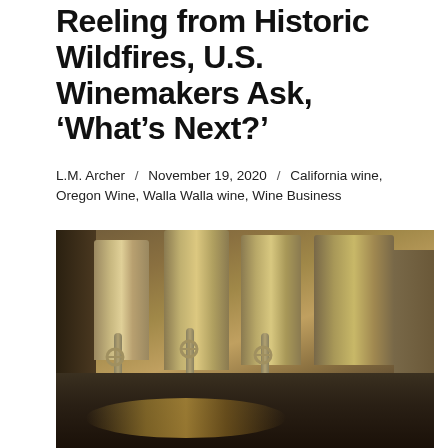Reeling from Historic Wildfires, U.S. Winemakers Ask, ‘What’s Next?’
L.M. Archer / November 19, 2020 / California wine, Oregon Wine, Walla Walla wine, Wine Business
[Figure (photo): Interior of a winery showing large stainless steel fermentation tanks with debris and rubble covering the floor, photographed in warm sepia tones suggesting fire damage aftermath.]